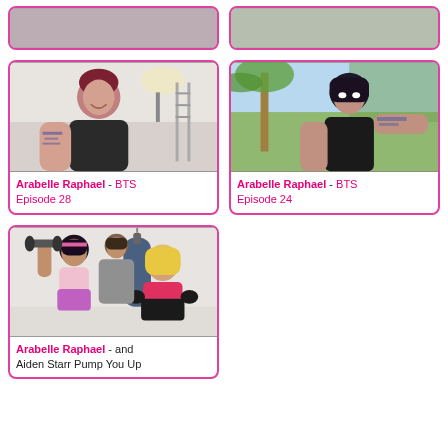[Figure (photo): Partial card top-left, cropped photo]
[Figure (photo): Partial card top-right, cropped photo]
[Figure (photo): Photo of Arabelle Raphael in gym/studio setting with film lights]
Arabelle Raphael - BTS Episode 28
[Figure (photo): Photo of Arabelle Raphael outdoors pointing toward camera, trees in background]
Arabelle Raphael - BTS Episode 24
[Figure (photo): Photo of Arabelle Raphael and Aiden Starr in workout/boxing gym attire]
Arabelle Raphael - and Aiden Starr Pump You Up